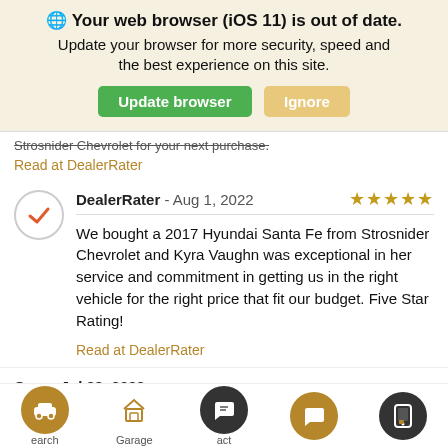🌐 Your web browser (iOS 11) is out of date.
Update your browser for more security, speed and the best experience on this site.
Strosnider Chevrolet for your next purchase.
Read at DealerRater
DealerRater - Aug 1, 2022  ★★★★★
We bought a 2017 Hyundai Santa Fe from Strosnider Chevrolet and Kyra Vaughn was exceptional in her service and commitment in getting us in the right vehicle for the right price that fit our budget. Five Star Rating!
Read at DealerRater
Cars - Jul 29, 2022